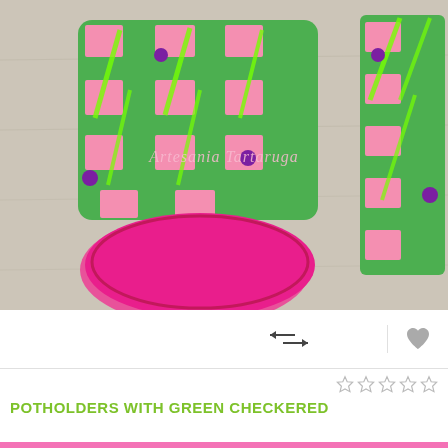[Figure (photo): Photo of green and pink checkered potholders — an oven mitt shape and a square potholder — placed on a light wooden surface. The items feature a green and pink checker pattern with purple dots and bright green streak/leaf designs. A watermark reads 'Artesania Tartaruga' in light pink italic text across the center.]
[Figure (other): Toolbar with left-right arrows icon in center and a grey heart/favorite icon on the right side]
[Figure (other): Five empty star rating icons aligned to the right]
POTHOLDERS WITH GREEN CHECKERED